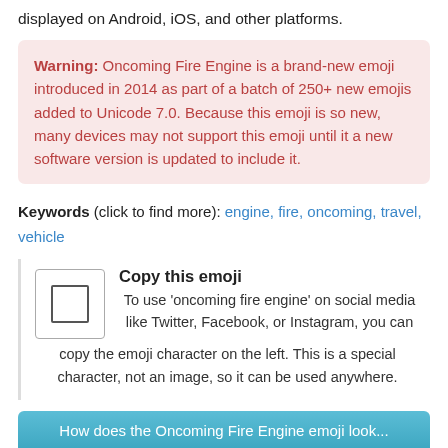displayed on Android, iOS, and other platforms.
Warning: Oncoming Fire Engine is a brand-new emoji introduced in 2014 as part of a batch of 250+ new emojis added to Unicode 7.0. Because this emoji is so new, many devices may not support this emoji until it a new software version is updated to include it.
Keywords (click to find more): engine, fire, oncoming, travel, vehicle
Copy this emoji
To use 'oncoming fire engine' on social media like Twitter, Facebook, or Instagram, you can copy the emoji character on the left. This is a special character, not an image, so it can be used anywhere.
Click To Tweet This Emoji: 🚒
How does the Oncoming Fire Engine emoji look...